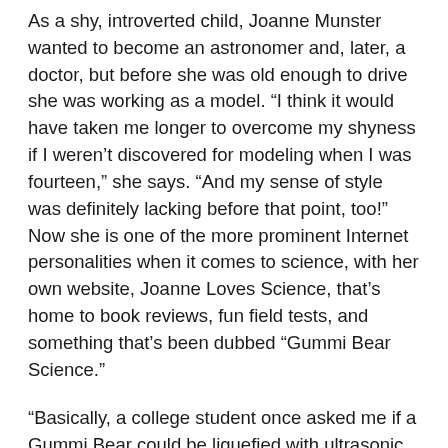As a shy, introverted child, Joanne Munster wanted to become an astronomer and, later, a doctor, but before she was old enough to drive she was working as a model. “I think it would have taken me longer to overcome my shyness if I weren’t discovered for modeling when I was fourteen,” she says. “And my sense of style was definitely lacking before that point, too!” Now she is one of the more prominent Internet personalities when it comes to science, with her own website, Joanne Loves Science, that’s home to book reviews, fun field tests, and something that’s been dubbed “Gummi Bear Science.”
“Basically, a college student once asked me if a Gummi Bear could be liquefied with ultrasonic sound waves. We gave it a try and it worked. Once I began making videos, I ran across the Gummi Bear in potassium chlorate video and decided to create one about sonication. Multiple ideas have emerged since then. I thought people might like to learn a little bit more about how scientists do various things in their lab and